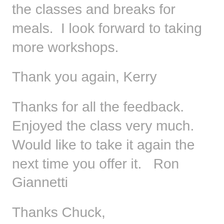the classes and breaks for meals.  I look forward to taking more workshops.
Thank you again, Kerry
Thanks for all the feedback. Enjoyed the class very much. Would like to take it again the next time you offer it.   Ron Giannetti
Thanks Chuck,
I really enjoyed the class. It is so valuable to shoot on location with a